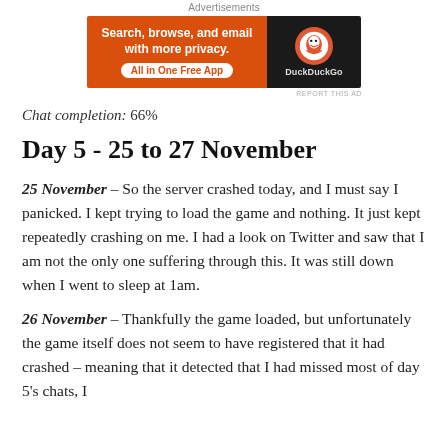[Figure (other): DuckDuckGo advertisement banner with orange left panel reading 'Search, browse, and email with more privacy. All in One Free App' and dark right panel with DuckDuckGo logo.]
Chat completion: 66%
Day 5 - 25 to 27 November
25 November – So the server crashed today, and I must say I panicked. I kept trying to load the game and nothing. It just kept repeatedly crashing on me. I had a look on Twitter and saw that I am not the only one suffering through this. It was still down when I went to sleep at 1am.
26 November – Thankfully the game loaded, but unfortunately the game itself does not seem to have registered that it had crashed – meaning that it detected that I had missed most of day 5's chats, I